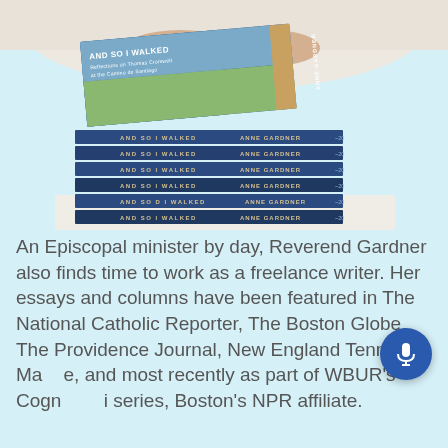[Figure (photo): A stack of books titled 'And So I Walked' by Anne Gardner, showing multiple copies with blue spines stacked on a white table, with a person's hands visible at the top holding the books.]
An Episcopal minister by day, Reverend Gardner also finds time to work as a freelance writer. Her essays and columns have been featured in The National Catholic Reporter, The Boston Globe, The Providence Journal, New England Tennis Magazine, and most recently as part of WBUR's Cognoscenti series, Boston's NPR affiliate.